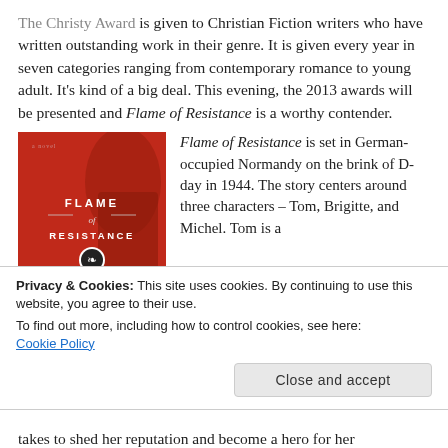The Christy Award is given to Christian Fiction writers who have written outstanding work in their genre. It is given every year in seven categories ranging from contemporary romance to young adult. It's kind of a big deal. This evening, the 2013 awards will be presented and Flame of Resistance is a worthy contender.
[Figure (illustration): Book cover of 'Flame of Resistance' — red background with a stylized image, title text FLAME of RESISTANCE in white, and a dark lower section with a face/portrait and tagline text.]
Flame of Resistance is set in German-occupied Normandy on the brink of D-day in 1944. The story centers around three characters – Tom, Brigitte, and Michel. Tom is a
Privacy & Cookies: This site uses cookies. By continuing to use this website, you agree to their use.
To find out more, including how to control cookies, see here:
Cookie Policy
Close and accept
takes to shed her reputation and become a hero for her